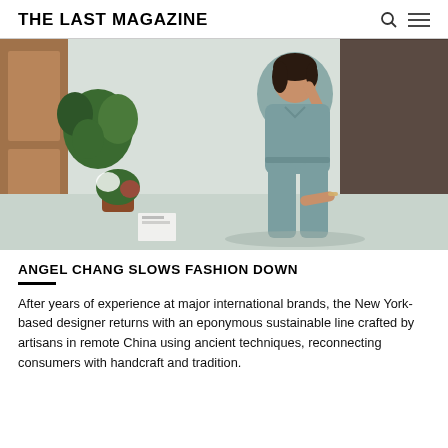THE LAST MAGAZINE
[Figure (photo): A woman wearing a teal/blue linen jumpsuit sits on steps indoors, resting her hand on her head, with a potted plant beside her and a wooden door in the background.]
ANGEL CHANG SLOWS FASHION DOWN
After years of experience at major international brands, the New York-based designer returns with an eponymous sustainable line crafted by artisans in remote China using ancient techniques, reconnecting consumers with handcraft and tradition.